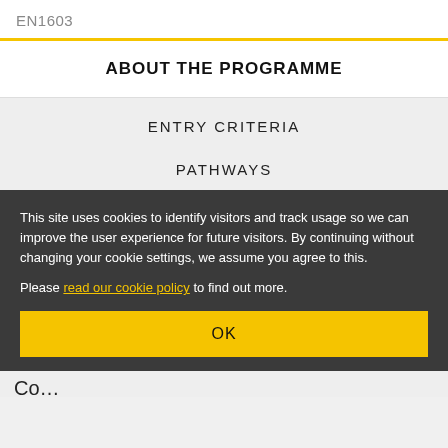EN1603
ABOUT THE PROGRAMME
ENTRY CRITERIA
PATHWAYS
This site uses cookies to identify visitors and track usage so we can improve the user experience for future visitors. By continuing without changing your cookie settings, we assume you agree to this.

Please read our cookie policy to find out more.
OK
Co…